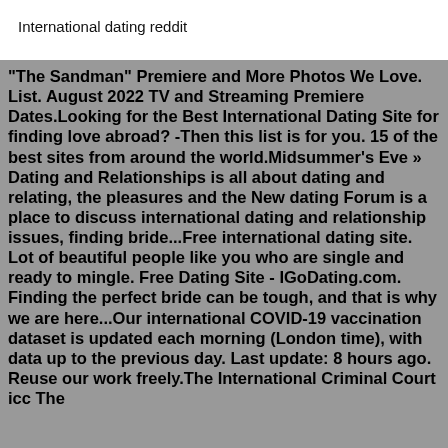International dating reddit
"The Sandman" Premiere and More Photos We Love. List. August 2022 TV and Streaming Premiere Dates.Looking for the Best International Dating Site for finding love abroad? -Then this list is for you. 15 of the best sites from around the world.Midsummer's Eve » Dating and Relationships is all about dating and relating, the pleasures and the New dating Forum is a place to discuss international dating and relationship issues, finding bride...Free international dating site. Lot of beautiful people like you who are single and ready to mingle. Free Dating Site - IGoDating.com. Finding the perfect bride can be tough, and that is why we are here...Our international COVID-19 vaccination dataset is updated each morning (London time), with data up to the previous day. Last update: 8 hours ago. Reuse our work freely.The International Criminal Court icc The